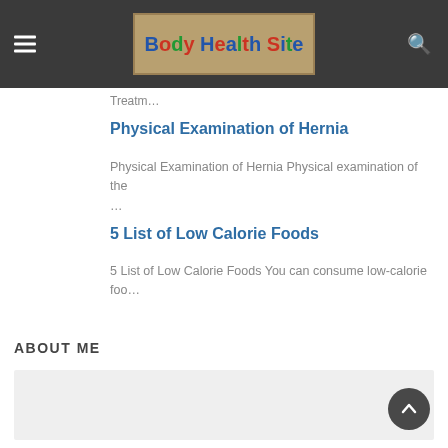Body Health Site
Treatm…
Physical Examination of Hernia
Physical Examination of Hernia Physical examination of the …
5 List of Low Calorie Foods
5 List of Low Calorie Foods You can consume low-calorie foo…
ABOUT ME